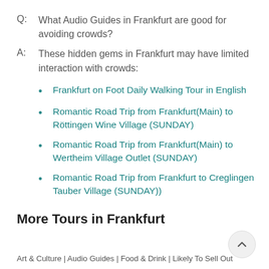Q:  What Audio Guides in Frankfurt are good for avoiding crowds?
A:  These hidden gems in Frankfurt may have limited interaction with crowds:
Frankfurt on Foot Daily Walking Tour in English
Romantic Road Trip from Frankfurt(Main) to Röttingen Wine Village (SUNDAY)
Romantic Road Trip from Frankfurt(Main) to Wertheim Village Outlet (SUNDAY)
Romantic Road Trip from Frankfurt to Creglingen Tauber Village (SUNDAY))
More Tours in Frankfurt
Art & Culture | Audio Guides | Food & Drink | Likely To Sell Out